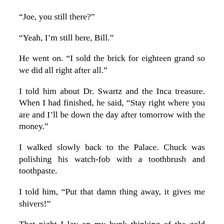“Joe, you still there?”
“Yeah, I’m still here, Bill.”
He went on. “I sold the brick for eighteen grand so we did all right after all.”
I told him about Dr. Swartz and the Inca treasure. When I had finished, he said, “Stay right where you are and I’ll be down the day after tomorrow with the money.”
I walked slowly back to the Palace. Chuck was polishing his watch-fob with a toothbrush and toothpaste.
I told him, “Put that damn thing away, it gives me shivers!”
That night I lay on my bunk thinking of the gold bricks, rolling and tossing, and wondering who could